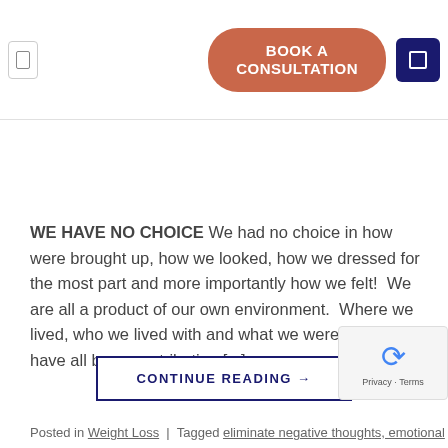BOOK A CONSULTATION
WE HAVE NO CHOICE We had no choice in how were brought up, how we looked, how we dressed for the most part and more importantly how we felt!  We are all a product of our own environment.  Where we lived, who we lived with and what we were exposed to, have all been contributing [...]
CONTINUE READING →
Posted in Weight Loss  |  Tagged eliminate negative thoughts, emotional